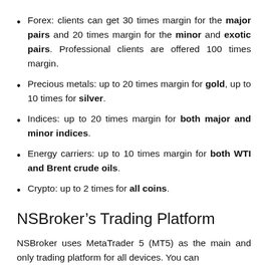Forex: clients can get 30 times margin for the major pairs and 20 times margin for the minor and exotic pairs. Professional clients are offered 100 times margin.
Precious metals: up to 20 times margin for gold, up to 10 times for silver.
Indices: up to 20 times margin for both major and minor indices.
Energy carriers: up to 10 times margin for both WTI and Brent crude oils.
Crypto: up to 2 times for all coins.
NSBroker’s Trading Platform
NSBroker uses MetaTrader 5 (MT5) as the main and only trading platform for all devices. You can